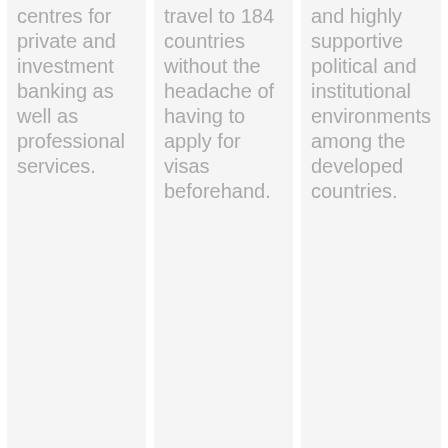centres for private and investment banking as well as professional services.
travel to 184 countries without the headache of having to apply for visas beforehand.
and highly supportive political and institutional environments among the developed countries.